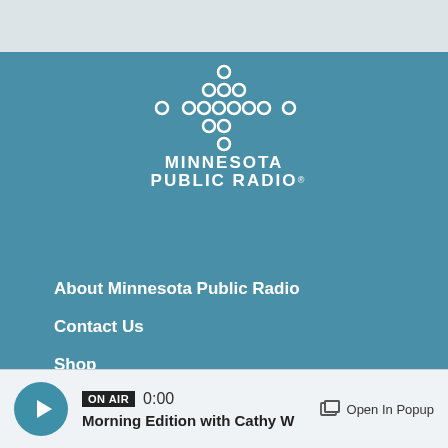[Figure (logo): Minnesota Public Radio logo — white dots arranged in a cross/star pattern above bold white text reading MINNESOTA PUBLIC RADIO]
About Minnesota Public Radio
Contact Us
Shop
Become a Member
Volunteer
Fundraising Credentials
ON AIR  0:00  Morning Edition with Cathy W  Open In Popup